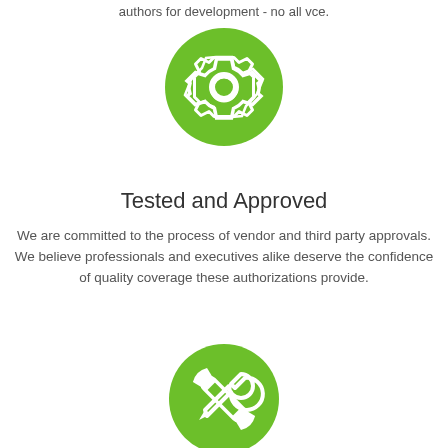authors for development - no all vce.
[Figure (illustration): Green circle with white gear/settings icon]
Tested and Approved
We are committed to the process of vendor and third party approvals. We believe professionals and executives alike deserve the confidence of quality coverage these authorizations provide.
[Figure (illustration): Green circle with white wrench/tool icon]